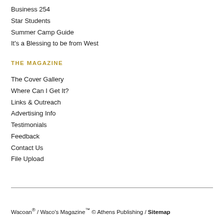Business 254
Star Students
Summer Camp Guide
It's a Blessing to be from West
THE MAGAZINE
The Cover Gallery
Where Can I Get It?
Links & Outreach
Advertising Info
Testimonials
Feedback
Contact Us
File Upload
Wacoan® / Waco's Magazine™ © Athens Publishing / Sitemap